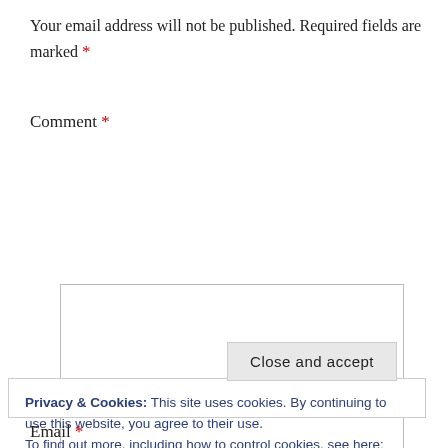Your email address will not be published. Required fields are marked *
Comment *
[Figure (other): Empty comment textarea input box with resize handle]
Privacy & Cookies: This site uses cookies. By continuing to use this website, you agree to their use. To find out more, including how to control cookies, see here: Cookie Policy
Close and accept
Email *